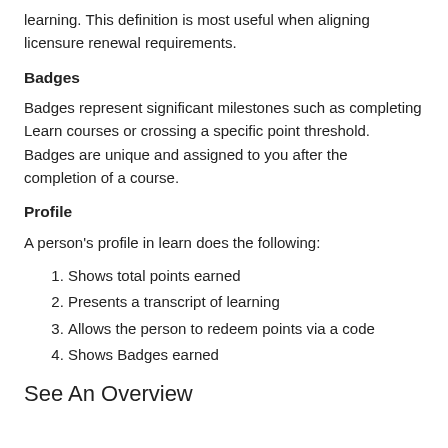learning. This definition is most useful when aligning licensure renewal requirements.
Badges
Badges represent significant milestones such as completing Learn courses or crossing a specific point threshold. Badges are unique and assigned to you after the completion of a course.
Profile
A person's profile in learn does the following:
Shows total points earned
Presents a transcript of learning
Allows the person to redeem points via a code
Shows Badges earned
See An Overview